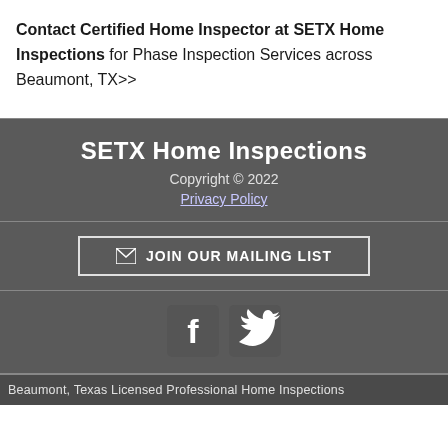Contact Certified Home Inspector at SETX Home Inspections for Phase Inspection Services across Beaumont, TX>>
SETX Home Inspections
Copyright © 2022
Privacy Policy
✉ JOIN OUR MAILING LIST
[Figure (illustration): Facebook and Twitter social media icons in white on dark square backgrounds]
Beaumont, Texas Licensed Professional Home Inspections